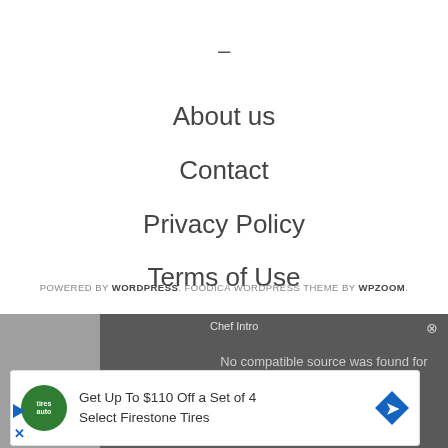–
About us
Contact
Privacy Policy
Terms of Use
POWERED BY WORDPRESS. FOODICA WORDPRESS THEME BY WPZOOM.
[Figure (screenshot): Video player overlay showing 'Chef Intro' title with message 'No compatible source was found for this media.' and an advertisement banner for 'Get Up To $110 Off a Set of 4 Select Firestone Tires' with a green logo and blue diamond arrow icon.]